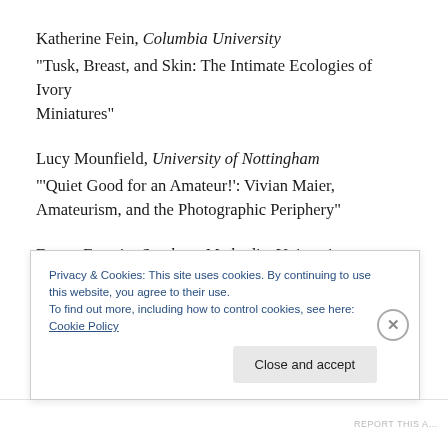Katherine Fein, Columbia University
“Tusk, Breast, and Skin: The Intimate Ecologies of Ivory Miniatures”
Lucy Mounfield, University of Nottingham
“‘Quiet Good for an Amateur!’: Vivian Maier, Amateurism, and the Photographic Periphery”
Danya Epstein, Southern Methodist University
“Back to the Future: Recursivity and Repertoire in the
Privacy & Cookies: This site uses cookies. By continuing to use this website, you agree to their use.
To find out more, including how to control cookies, see here: Cookie Policy
Close and accept